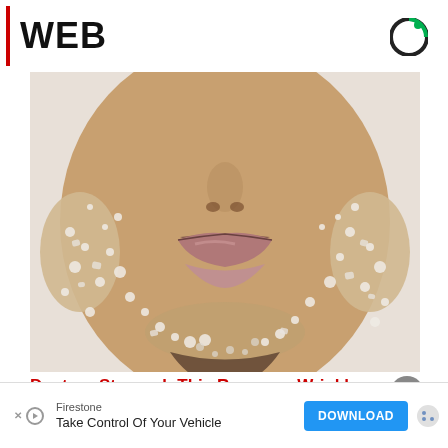WEB
[Figure (photo): Close-up photo of a person's face (lower half) covered in salt or sugar crystals, showing lips and chin area against a light background]
Doctors Stunned: This Removes Wrinkles Like
Firestone
Take Control Of Your Vehicle
DOWNLOAD